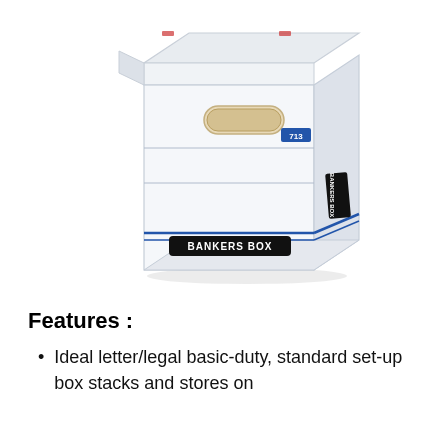[Figure (photo): A Bankers Box white cardboard storage box with lid, featuring a handle cutout on the front, blue horizontal stripe accents, a black label reading 'BANKERS BOX', and a small blue label reading '713' on the side.]
Features :
Ideal letter/legal basic-duty, standard set-up box stacks and stores on